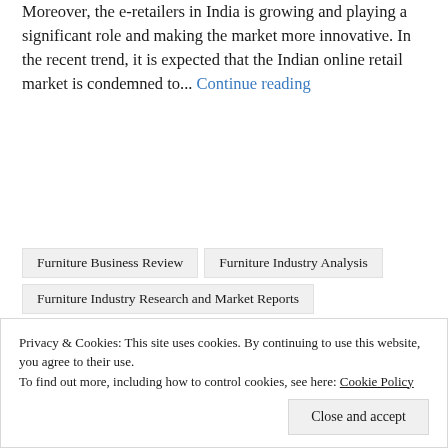Moreover, the e-retailers in India is growing and playing a significant role and making the market more innovative. In the recent trend, it is expected that the Indian online retail market is condemned to... Continue reading
Furniture Business Review
Furniture Industry Analysis
Furniture Industry Research and Market Reports
Furniture Industry Research Report
Privacy & Cookies: This site uses cookies. By continuing to use this website, you agree to their use.
To find out more, including how to control cookies, see here: Cookie Policy